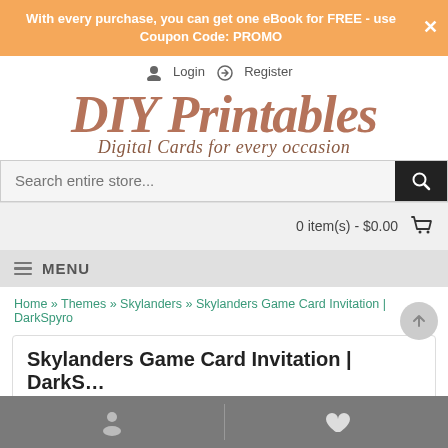With every purchase, you can get one eBook for FREE - use Coupon Code: PROMO
Login   Register
DIY Printables Digital Cards for every occasion
Search entire store...
0 item(s) - $0.00
MENU
Home » Themes » Skylanders » Skylanders Game Card Invitation | DarkSpyro
Skylanders Game Card Invitation | DarkS...